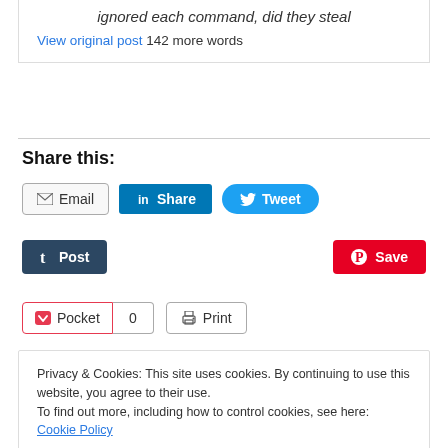ignored each command, did they steal
View original post 142 more words
Share this:
Email | Share | Tweet | Post | Save | Pocket | 0 | Print
Privacy & Cookies: This site uses cookies. By continuing to use this website, you agree to their use. To find out more, including how to control cookies, see here: Cookie Policy
Close and accept